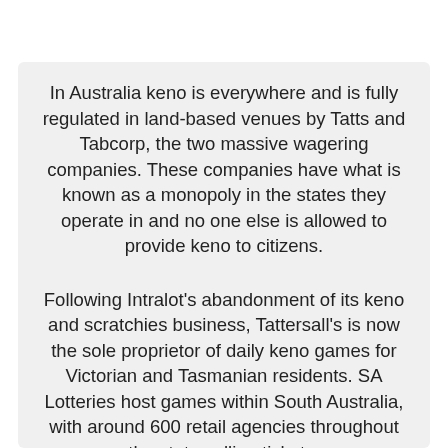In Australia keno is everywhere and is fully regulated in land-based venues by Tatts and Tabcorp, the two massive wagering companies. These companies have what is known as a monopoly in the states they operate in and no one else is allowed to provide keno to citizens.
Following Intralot's abandonment of its keno and scratchies business, Tattersall's is now the sole proprietor of daily keno games for Victorian and Tasmanian residents. SA Lotteries host games within South Australia, with around 600 retail agencies throughout the state selling tickets.
SA Lotteries also syndicates games to the ACT. Results of keno games are available to view online